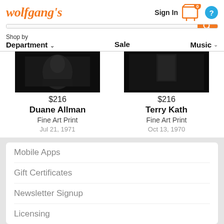wolfgang's
Sign In
[Figure (screenshot): Shopping cart icon with badge showing 0]
[Figure (screenshot): Help button showing question mark]
[Figure (screenshot): Search bar with orange search button]
Shop by Department   Sale   Music
[Figure (photo): Dark concert photo - Duane Allman]
$216
Duane Allman
Fine Art Print
Jul 21, 1971
[Figure (photo): Dark concert photo - Terry Kath]
$216
Terry Kath
Fine Art Print
Oct 13, 1970
Mobile Apps
Gift Certificates
Newsletter Signup
Licensing